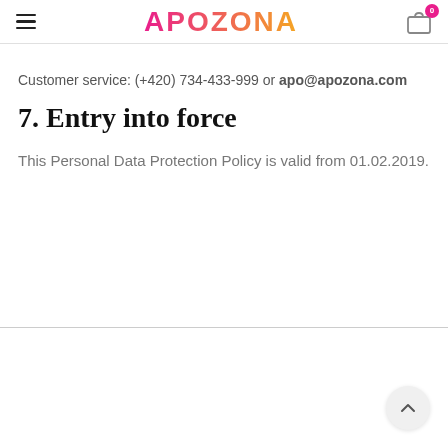APOZONA — Customer service: (+420) 734-433-999 or apo@apozona.com
7. Entry into force
This Personal Data Protection Policy is valid from 01.02.2019.